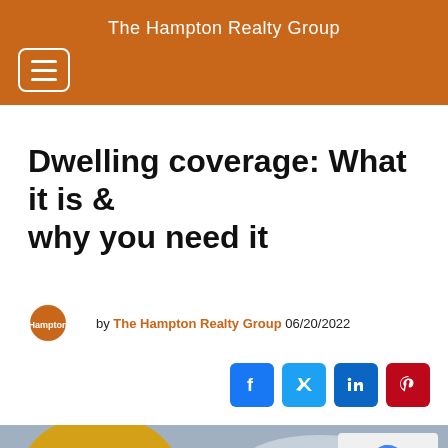The Hampton Realty Group
Dwelling coverage: What it is & why you need it
by The Hampton Realty Group 06/20/2022
[Figure (logo): Social share icons: Facebook, Twitter, LinkedIn, Pinterest]
[Figure (photo): Autumn house photo with yellow foliage and overcast sky]